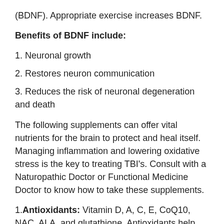(BDNF). Appropriate exercise increases BDNF.
Benefits of BDNF include:
1. Neuronal growth
2. Restores neuron communication
3. Reduces the risk of neuronal degeneration and death
The following supplements can offer vital nutrients for the brain to protect and heal itself. Managing inflammation and lowering oxidative stress is the key to treating TBI’s. Consult with a Naturopathic Doctor or Functional Medicine Doctor to know how to take these supplements.
1. Antioxidants: Vitamin D, A, C, E, CoQ10, NAC, ALA, and glutathione. Antioxidants help the cells recover from injury by reducing free radical damage to